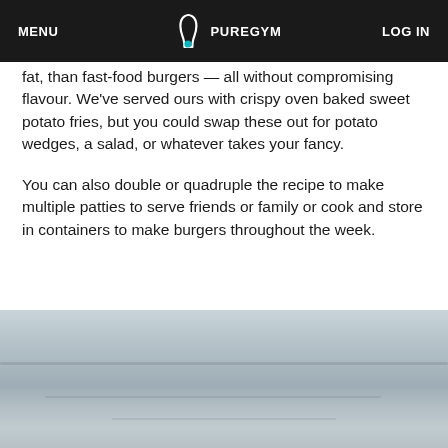MENU | PUREGYM | LOG IN
fat, than fast-food burgers — all without compromising flavour. We've served ours with crispy oven baked sweet potato fries, but you could swap these out for potato wedges, a salad, or whatever takes your fancy.
You can also double or quadruple the recipe to make multiple patties to serve friends or family or cook and store in containers to make burgers throughout the week.
[Figure (photo): Blurred/out-of-focus photo showing a light grey-blue surface, likely a kitchen counter or marble surface, partially visible at the bottom of the page.]